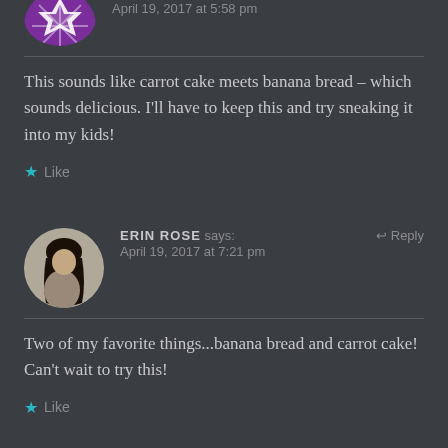[Figure (illustration): Purple avatar with geometric star/snowflake pattern, partially cropped at top]
April 19, 2017 at 5:58 pm
This sounds like carrot cake meets banana bread – which sounds delicious. I'll have to keep this and try sneaking it into my kids!
Like
[Figure (photo): Circular avatar photo of a woman with long dark hair looking down]
ERIN ROSE says:
Reply
April 19, 2017 at 7:21 pm
Two of my favorite things...banana bread and carrot cake! Can't wait to try this!
Like